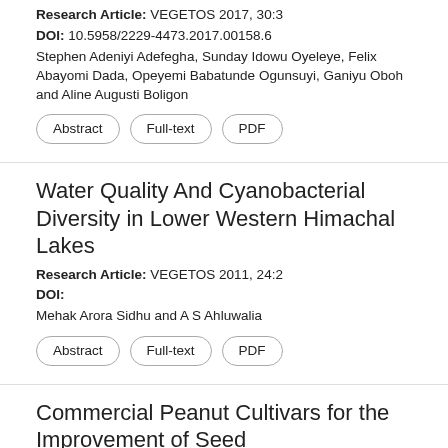Research Article: VEGETOS 2017, 30:3
DOI: 10.5958/2229-4473.2017.00158.6
Stephen Adeniyi Adefegha, Sunday Idowu Oyeleye, Felix Abayomi Dada, Opeyemi Babatunde Ogunsuyi, Ganiyu Oboh and Aline Augusti Boligon
Abstract
Full-text
PDF
Water Quality And Cyanobacterial Diversity in Lower Western Himachal Lakes
Research Article: VEGETOS 2011, 24:2
DOI:
Mehak Arora Sidhu and A S Ahluwalia
Abstract
Full-text
PDF
Commercial Peanut Cultivars for the Improvement of Seed Physicochemicals and Fatty Acids
Research Article: VEGETOS 2017, 30:3
DOI: 10.5958/2229-4473.2017.00159.8